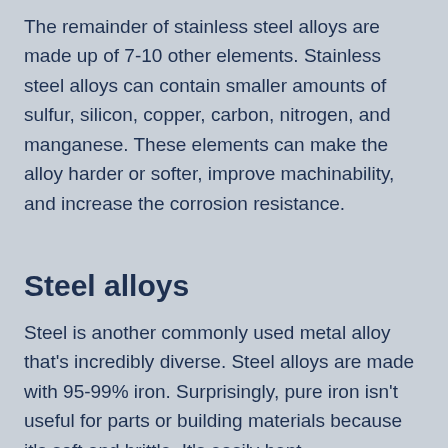The remainder of stainless steel alloys are made up of 7-10 other elements. Stainless steel alloys can contain smaller amounts of sulfur, silicon, copper, carbon, nitrogen, and manganese. These elements can make the alloy harder or softer, improve machinability, and increase the corrosion resistance.
Steel alloys
Steel is another commonly used metal alloy that's incredibly diverse. Steel alloys are made with 95-99% iron. Surprisingly, pure iron isn't useful for parts or building materials because it's soft and brittle. It's easily bent